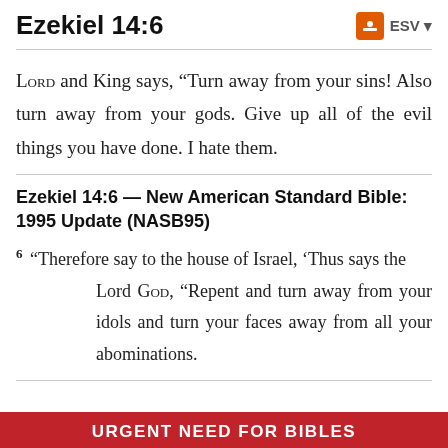Ezekiel 14:6   ESV
LORD and King says, “Turn away from your sins! Also turn away from your gods. Give up all of the evil things you have done. I hate them.
Ezekiel 14:6 — New American Standard Bible: 1995 Update (NASB95)
6 “Therefore say to the house of Israel, ‘Thus says the Lord GOD, “Repent and turn away from your idols and turn your faces away from all your abominations.
URGENT NEED FOR BIBLES